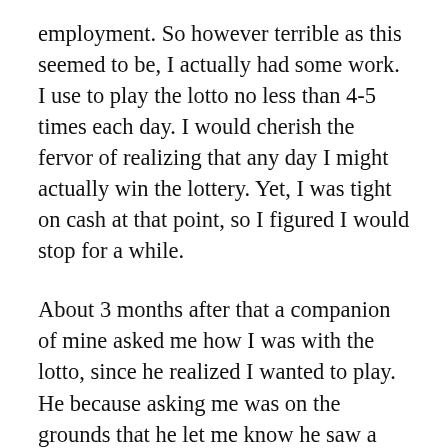employment. So however terrible as this seemed to be, I actually had some work. I use to play the lotto no less than 4-5 times each day. I would cherish the fervor of realizing that any day I might actually win the lottery. Yet, I was tight on cash at that point, so I figured I would stop for a while.
About 3 months after that a companion of mine asked me how I was with the lotto, since he realized I wanted to play. He because asking me was on the grounds that he let me know he saw a book online that evidently has the lottery secret recipe, and would tell you the best way to win the lottery. At first I didn't really accept that it, yet figured I would understand what he